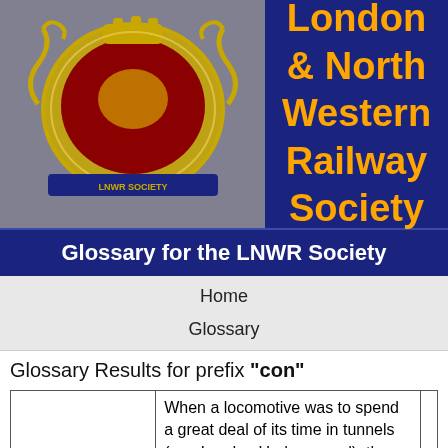London & North Western Railway Society
Glossary for the LNWR Society
Home
Glossary
Glossary Results for prefix "con"
|  |  |  |
| --- | --- | --- |
| Condensing Apparatus | When a locomotive was to spend a great deal of its time in tunnels (e.g. London Underground), the spent steam from the cylinders was not released to the atmosphere through the Blast Pipe... and chimney, but |  |